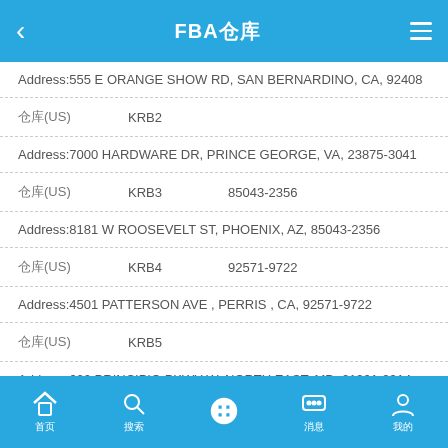FBA仓库
Address:555 E ORANGE SHOW RD, SAN BERNARDINO, CA, 92408
仓库(US)    KRB2
Address:7000 HARDWARE DR, PRINCE GEORGE, VA, 23875-3041
仓库(US)    KRB3    85043-2356
Address:8181 W ROOSEVELT ST, PHOENIX, AZ, 85043-2356
仓库(US)    KRB4    92571-9722
Address:4501 PATTERSON AVE , PERRIS , CA, 92571-9722
仓库(US)    KRB5
Address:600 PRINCIPIO PKWY W, NORTH EAST, MD, 21901-2914